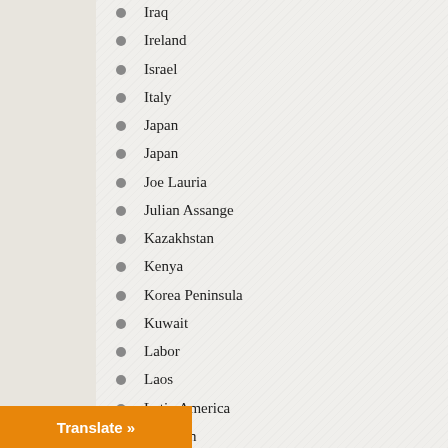Iraq
Ireland
Israel
Italy
Japan
Japan
Joe Lauria
Julian Assange
Kazakhstan
Kenya
Korea Peninsula
Kuwait
Labor
Laos
Latin America
Lebanon
Legal
Letter from Britain
Letter From India